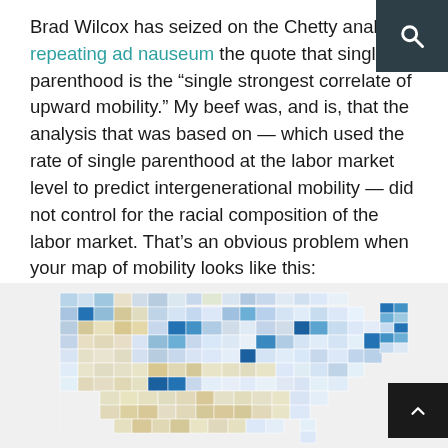Brad Wilcox has seized on the Chetty analysis, repeating ad nauseum the quote that single parenthood is the “single strongest correlate of upward mobility.” My beef was, and is, that the analysis that was based on — which used the rate of single parenthood at the labor market level to predict intergenerational mobility — did not control for the racial composition of the labor market. That’s an obvious problem when your map of mobility looks like this:
[Figure (map): A choropleth map of the United States showing intergenerational mobility by labor market area. Areas are shaded in blues and yellows, with darker blue indicating higher mobility and yellow/tan indicating lower mobility. The map shows regional variation across the country.]